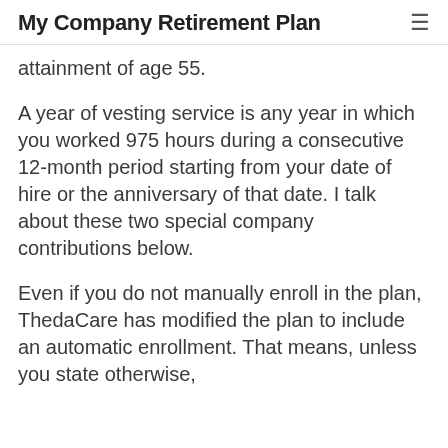My Company Retirement Plan
attainment of age 55.
A year of vesting service is any year in which you worked 975 hours during a consecutive 12-month period starting from your date of hire or the anniversary of that date. I talk about these two special company contributions below.
Even if you do not manually enroll in the plan, ThedaCare has modified the plan to include an automatic enrollment. That means, unless you state otherwise,